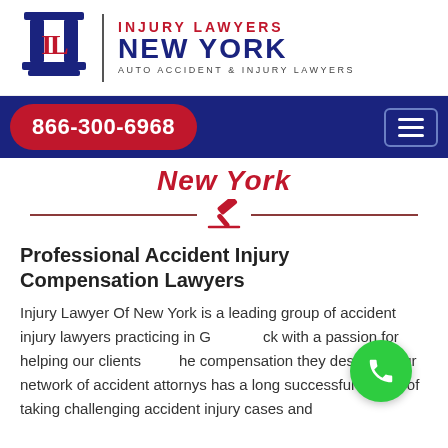[Figure (logo): Injury Lawyers New York logo with IL pillar icon and text: INJURY LAWYERS NEW YORK, AUTO ACCIDENT & INJURY LAWYERS]
866-300-6968
New York
Professional Accident Injury Compensation Lawyers
Injury Lawyer Of New York is a leading group of accident injury lawyers practicing in G[reenwich?]ck with a passion for helping our clients[get] the compensation they deserve. Our network of accident attornys has a long successful history of taking challenging accident injury cases and